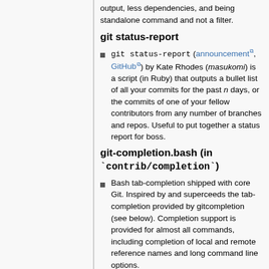output, less dependencies, and being standalone command and not a filter.
git status-report
git status-report (announcement, GitHub) by Kate Rhodes (masukomi) is a script (in Ruby) that outputs a bullet list of all your commits for the past n days, or the commits of one of your fellow contributors from any number of branches and repos. Useful to put together a status report for boss.
git-completion.bash (in `contrib/completion`)
Bash tab-completion shipped with core Git. Inspired by and superceeds the tab-completion provided by gitcompletion (see below). Completion support is provided for almost all commands, including completion of local and remote reference names and long command line options.
gitcompletion and generate-completions